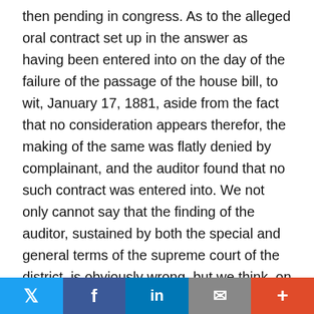then pending in congress. As to the alleged oral contract set up in the answer as having been entered into on the day of the failure of the passage of the house bill, to wit, January 17, 1881, aside from the fact that no consideration appears therefor, the making of the same was flatly denied by complainant, and the auditor found that no such contract was entered into. We not only cannot say that the finding of the auditor, sustained by both the special and general terms of the supreme court of the district, is obviously wrong, but we think, on the contrary, that it was clearly warranted by the evidence. A circumstance which would be of great weight in inducing us to reach this conclusion, were it necessary for us to carefully weigh the evidence, is the fact that at the time of the failure of the bill in question $500 was still due from Mason to defendant under the contract of June 3, 1880, and that sum was subsequently paid to Spalding, and the